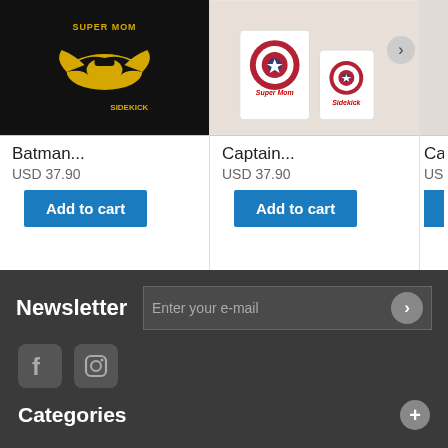[Figure (photo): Batman themed Super Mom and Sidekick black t-shirts]
Batman...
USD 37.90
Add to cart
[Figure (photo): Captain America Super Mom themed white t-shirts]
Captain...
USD 37.90
Add to cart
[Figure (photo): Partially visible third product - Cap...]
Cap...
USD...
A...
Newsletter
Enter your e-mail
Categories